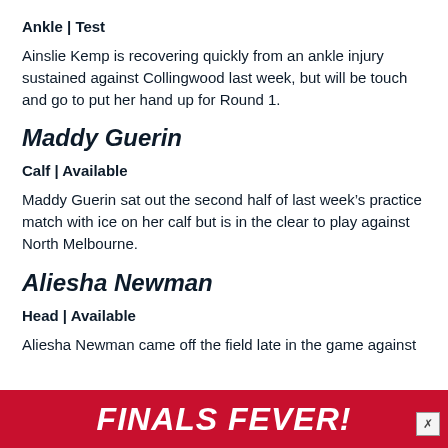Ankle | Test
Ainslie Kemp is recovering quickly from an ankle injury sustained against Collingwood last week, but will be touch and go to put her hand up for Round 1.
Maddy Guerin
Calf | Available
Maddy Guerin sat out the second half of last week's practice match with ice on her calf but is in the clear to play against North Melbourne.
Aliesha Newman
Head | Available
Aliesha Newman came off the field late in the game against
[Figure (infographic): Red banner advertisement reading FINALS FEVER! with a close button in the bottom right corner]